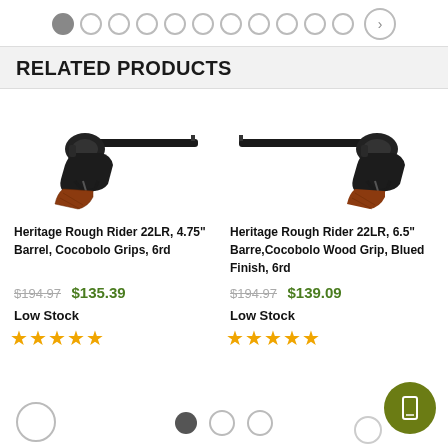RELATED PRODUCTS
[Figure (photo): Heritage Rough Rider 22LR revolver with 4.75 inch barrel and cocobolo wood grip, blued finish, side view]
Heritage Rough Rider 22LR, 4.75" Barrel, Cocobolo Grips, 6rd
$194.97  $135.39
Low Stock
★★★★★
[Figure (photo): Heritage Rough Rider 22LR revolver with 6.5 inch barrel and cocobolo wood grip, blued finish, side view]
Heritage Rough Rider 22LR, 6.5" Barre, Cocobolo Wood Grip, Blued Finish, 6rd
$194.97  $139.09
Low Stock
★★★★★